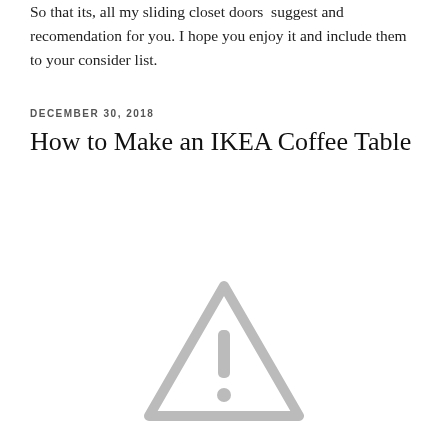So that its, all my sliding closet doors  suggest and recomendation for you. I hope you enjoy it and include them to your consider list.
DECEMBER 30, 2018
How to Make an IKEA Coffee Table
[Figure (illustration): A gray warning/caution triangle icon with an exclamation mark inside, representing a broken or unavailable image placeholder.]